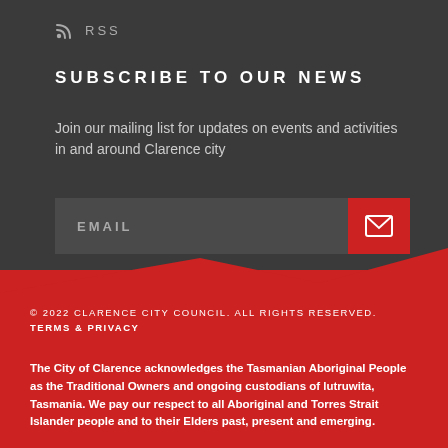RSS
SUBSCRIBE TO OUR NEWS
Join our mailing list for updates on events and activities in and around Clarence city
EMAIL
© 2022 CLARENCE CITY COUNCIL. ALL RIGHTS RESERVED. TERMS & PRIVACY
The City of Clarence acknowledges the Tasmanian Aboriginal People as the Traditional Owners and ongoing custodians of lutruwita, Tasmania. We pay our respect to all Aboriginal and Torres Strait Islander people and to their Elders past, present and emerging.